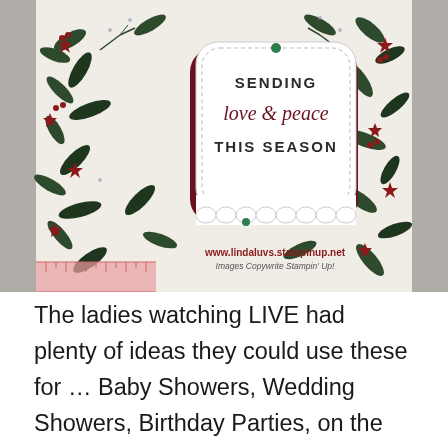[Figure (photo): A close-up photo of a decorative gift basket/box with a white floral patterned surface featuring dark green holly leaves, red/maroon star-shaped flowers, and berries. In the center is a white label tag with stitched border reading 'SENDING love & peace THIS SEASON' in serif font. A green gemstone embellishment is visible. A ruler is partially visible at the bottom left. Watermark text reads 'www.lindaluvs.stampinup.net' and 'Images Copywrite Stampin' Up!']
The ladies watching LIVE had plenty of ideas they could use these for … Baby Showers, Wedding Showers, Birthday Parties, on the table for the Holiday's … a teachers Gift or a cute little gift for a co-worker. The possibilities are endless, and that cute little basket is